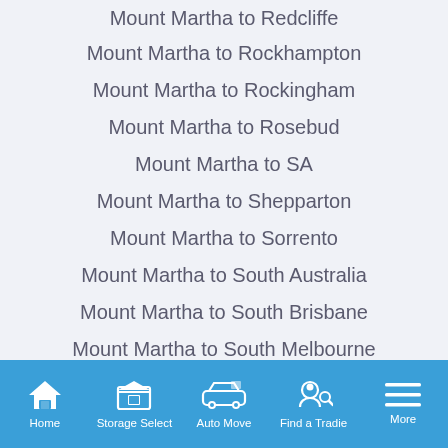Mount Martha to Redcliffe
Mount Martha to Rockhampton
Mount Martha to Rockingham
Mount Martha to Rosebud
Mount Martha to SA
Mount Martha to Shepparton
Mount Martha to Sorrento
Mount Martha to South Australia
Mount Martha to South Brisbane
Mount Martha to South Melbourne
Home  Storage Select  Auto Move  Find a Tradie  More